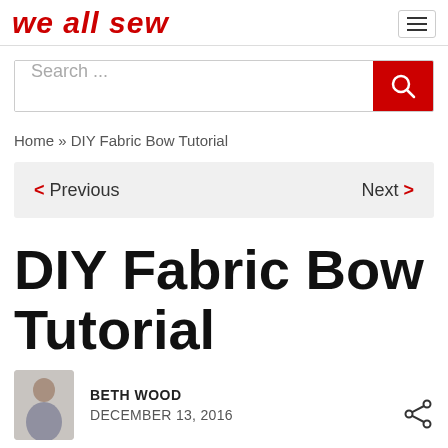we all sew
Search ...
Home » DIY Fabric Bow Tutorial
< Previous   Next >
DIY Fabric Bow Tutorial
BETH WOOD
DECEMBER 13, 2016